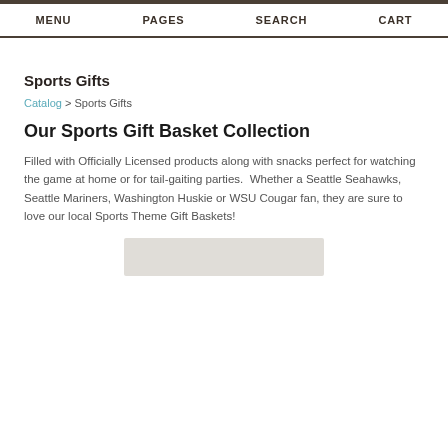MENU   PAGES   SEARCH   CART
Sports Gifts
Catalog > Sports Gifts
Our Sports Gift Basket Collection
Filled with Officially Licensed products along with snacks perfect for watching the game at home or for tail-gaiting parties.  Whether a Seattle Seahawks, Seattle Mariners, Washington Huskie or WSU Cougar fan, they are sure to love our local Sports Theme Gift Baskets!
[Figure (photo): Product image placeholder — light gray rectangle representing a sports gift basket product photo]